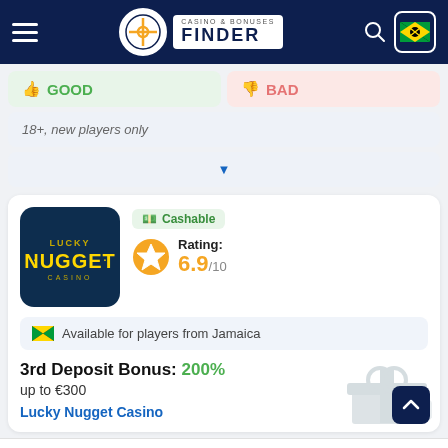Casino & Bonuses Finder
GOOD
BAD
18+, new players only
[Figure (logo): Lucky Nugget Casino logo on dark blue background]
Cashable
Rating: 6.9/10
Available for players from Jamaica
3rd Deposit Bonus: 200% up to €300
Lucky Nugget Casino